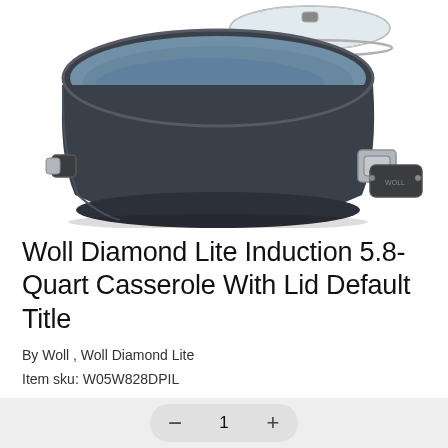[Figure (photo): A Woll Diamond Lite Induction casserole pot with dark blue-gray nonstick interior, dark gray exterior, and a stainless steel handle with black grip. A glass lid with steel handle is visible at the top right, partially off the pot. View from slightly above.]
Woll Diamond Lite Induction 5.8-Quart Casserole With Lid Default Title
By Woll , Woll Diamond Lite
Item sku: W05W828DPIL
1